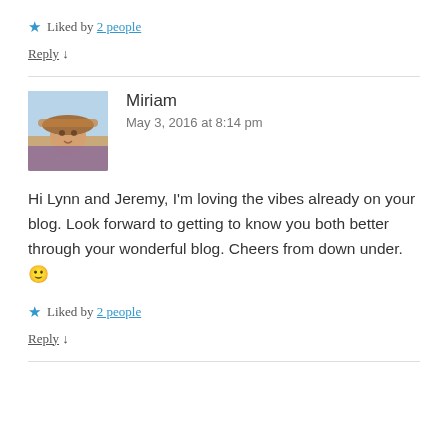★ Liked by 2 people
Reply ↓
[Figure (photo): Avatar photo of Miriam, a woman wearing a hat outdoors in sunny conditions]
Miriam
May 3, 2016 at 8:14 pm
Hi Lynn and Jeremy, I'm loving the vibes already on your blog. Look forward to getting to know you both better through your wonderful blog. Cheers from down under. 🙂
★ Liked by 2 people
Reply ↓